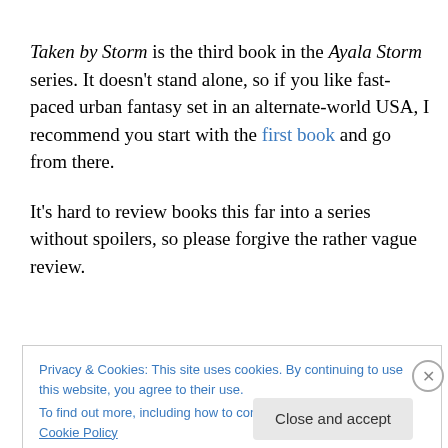Taken by Storm is the third book in the Ayala Storm series. It doesn't stand alone, so if you like fast-paced urban fantasy set in an alternate-world USA, I recommend you start with the first book and go from there.
It's hard to review books this far into a series without spoilers, so please forgive the rather vague review.
Privacy & Cookies: This site uses cookies. By continuing to use this website, you agree to their use. To find out more, including how to control cookies, see here: Cookie Policy